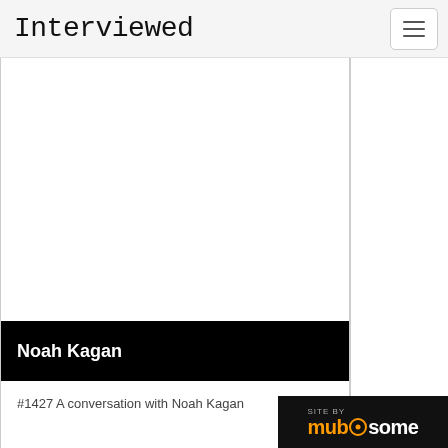Interviewed
[Figure (other): White/blank image placeholder area for a video or photo embed]
Noah Kagan
#1427 A conversation with Noah Kagan
[Figure (logo): SITE BY mubsome logo in black background, bottom right corner]